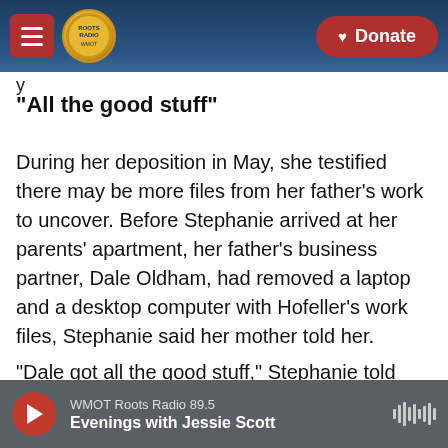WMOT Roots Radio — navigation header with Donate button
"All the good stuff"
During her deposition in May, she testified there may be more files from her father's work to uncover. Before Stephanie arrived at her parents' apartment, her father's business partner, Dale Oldham, had removed a laptop and a desktop computer with Hofeller's work files, Stephanie said her mother told her.
"Dale got all the good stuff," Stephanie told attorneys.
WMOT Roots Radio 89.5 — Evenings with Jessie Scott